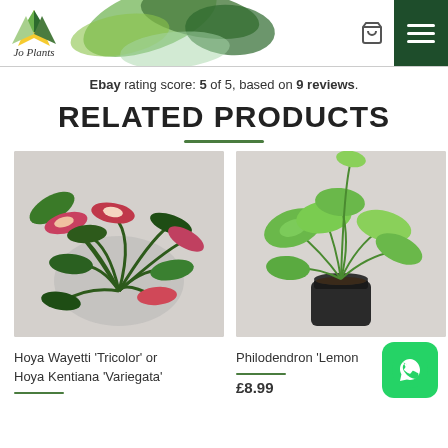Jo Plants header with logo, cart icon and menu
Ebay rating score: 5 of 5, based on 9 reviews.
RELATED PRODUCTS
[Figure (photo): Hoya Wayetti Tricolor or Hoya Kentiana Variegata plant with dark green and pink variegated leaves]
[Figure (photo): Philodendron Lemon plant in a small black pot with large green leaves]
Hoya Wayetti 'Tricolor' or Hoya Kentiana 'Variegata'
Philodendron 'Lemon
£8.99